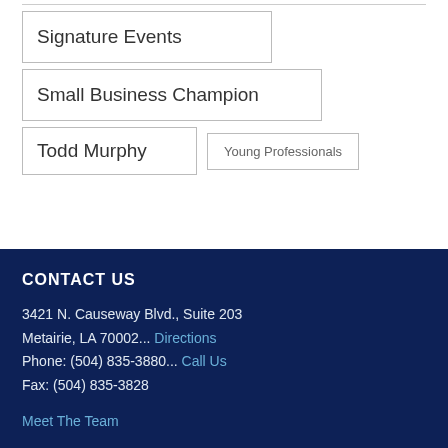Signature Events
Small Business Champion
Todd Murphy
Young Professionals
CONTACT US
3421 N. Causeway Blvd., Suite 203
Metairie, LA 70002... Directions
Phone: (504) 835-3880... Call Us
Fax: (504) 835-3828
Meet The Team